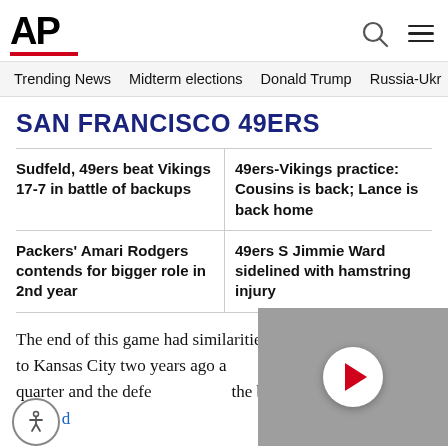AP
Trending News
Midterm elections
Donald Trump
Russia-Ukr
SAN FRANCISCO 49ERS
Sudfeld, 49ers beat Vikings 17-7 in battle of backups
49ers-Vikings practice: Cousins is back; Lance is back home
Packers' Amari Rodgers contends for bigger role in 2nd year
49ers S Jimmie Ward sidelined with hamstring injury
The end of this game had similarities to the Super Bowl loss to Kansas City two years ago a... i...fourth quarter and the defe... the big play, with Jaquiski Tartt's d